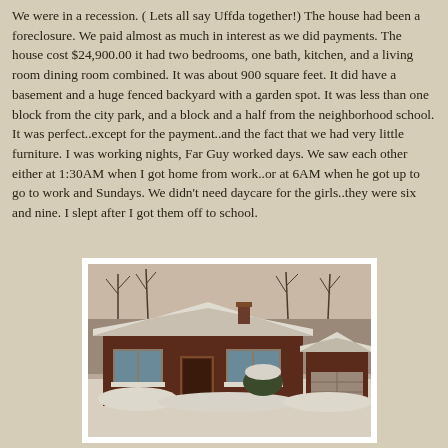We were in a recession. ( Lets all say Uffda together!)  The house had been a foreclosure. We paid almost as much in interest as we did payments.  The house cost $24,900.00  it had two bedrooms, one bath, kitchen, and a living room dining room combined.  It was about 900 square feet.  It did have a basement and a huge fenced backyard with a garden spot.  It was less than one block from the city park, and a block and a half from the neighborhood school. It was perfect..except for the payment..and the fact that we had very little furniture.  I was working nights, Far Guy worked days.  We saw each other either at 1:30AM when I got home from work..or at 6AM when he got up to go to work and Sundays. We didn't need daycare for the girls..they were six and nine.  I slept after I got them off to school.
[Figure (photo): A vintage photograph of a small ranch-style brick house in winter, covered in snow. A detached garage is visible on the right. Bare trees are in the background. The photo has a white border/frame.]